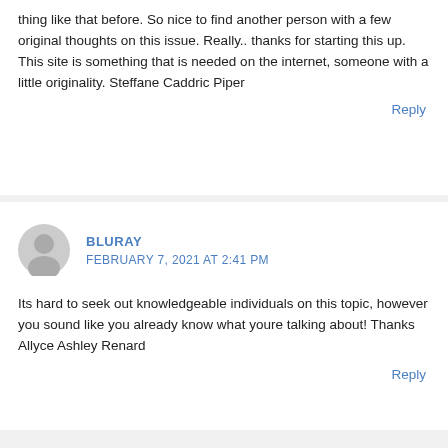thing like that before. So nice to find another person with a few original thoughts on this issue. Really.. thanks for starting this up. This site is something that is needed on the internet, someone with a little originality. Steffane Caddric Piper
Reply
BLURAY
FEBRUARY 7, 2021 AT 2:41 PM
Its hard to seek out knowledgeable individuals on this topic, however you sound like you already know what youre talking about! Thanks Allyce Ashley Renard
Reply